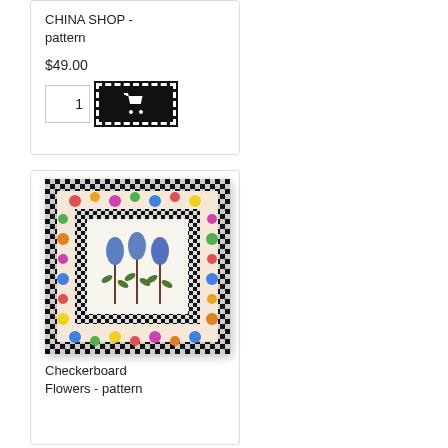CHINA SHOP - pattern
$49.00
[Figure (screenshot): Quantity input box showing 1 and a black add-to-cart button with shopping cart icon]
[Figure (photo): Needlepoint canvas showing a checkerboard border with colorful flowers and central panel with blue tulip-like flowers on stems]
Checkerboard Flowers - pattern